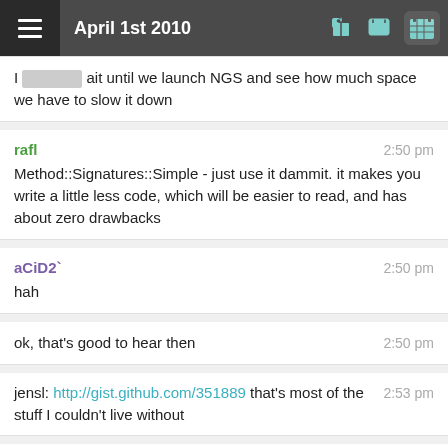April 1st 2010
I [blocked] ait until we launch NGS and see how much space we have to slow it down
rafl 2:50 pm
Method::Signatures::Simple - just use it dammit. it makes you write a little less code, which will be easier to read, and has about zero drawbacks
aCiD2` 2:50 pm
hah
ok, that's good to hear then 2:50 pm
jensl: http://gist.github.com/351889 that's most of the stuff I couldn't live without 2:53 pm
jensl 2:53 pm
acid2: thanks